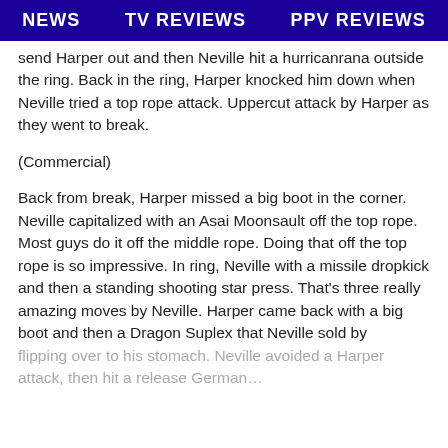NEWS   TV REVIEWS   PPV REVIEWS
send Harper out and then Neville hit a hurricanrana outside the ring. Back in the ring, Harper knocked him down when Neville tried a top rope attack. Uppercut attack by Harper as they went to break.
(Commercial)
Back from break, Harper missed a big boot in the corner. Neville capitalized with an Asai Moonsault off the top rope. Most guys do it off the middle rope. Doing that off the top rope is so impressive. In ring, Neville with a missile dropkick and then a standing shooting star press. That’s three really amazing moves by Neville. Harper came back with a big boot and then a Dragon Suplex that Neville sold by flipping over to his stomach. Neville avoided a Harper attack, then hit a release German...